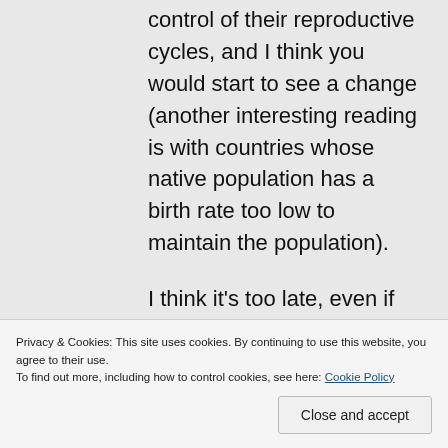control of their reproductive cycles, and I think you would start to see a change (another interesting reading is with countries whose native population has a birth rate too low to maintain the population).
I think it's too late, even if we started now, for that approach — we're looking
Privacy & Cookies: This site uses cookies. By continuing to use this website, you agree to their use. To find out more, including how to control cookies, see here: Cookie Policy